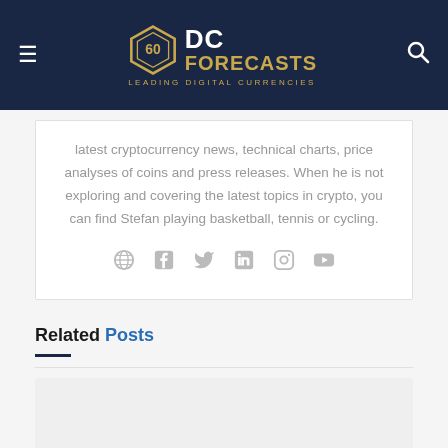DC FORECASTS — Leading Digital Currencies
latest cryptocurrency news, technical charts, price analyses of coins and press releases. When he is not exploring and covering the latest topics in crypto, you can find Stefan playing basketball, tennis or cycling.
[Figure (infographic): Social media icons: globe, facebook, twitter, linkedin, instagram, youtube]
Related Posts
[Figure (photo): Gray placeholder image for related post]